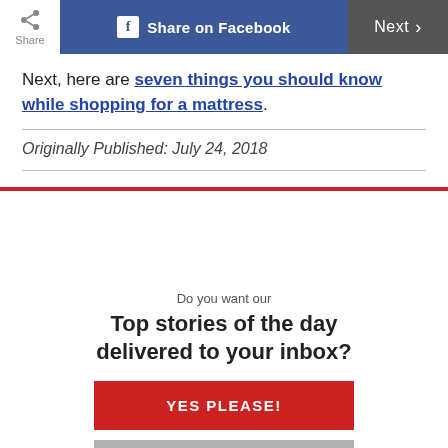Share | Share on Facebook | Next
Next, here are seven things you should know while shopping for a mattress.
Originally Published: July 24, 2018
Do you want our
Top stories of the day delivered to your inbox?
YES PLEASE!
NO THANKS